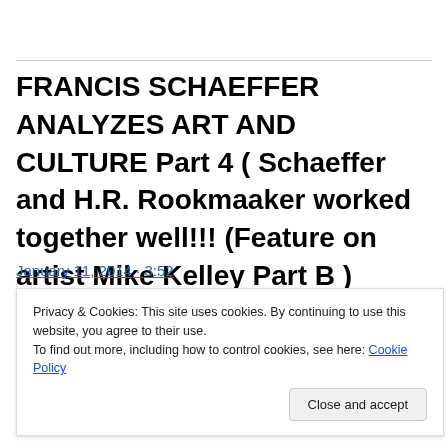FRANCIS SCHAEFFER ANALYZES ART AND CULTURE Part 4 ( Schaeffer and H.R. Rookmaaker worked together well!!! (Feature on artist Mike Kelley Part B )
Privacy & Cookies: This site uses cookies. By continuing to use this website, you agree to their use.
To find out more, including how to control cookies, see here: Cookie Policy
Close and accept